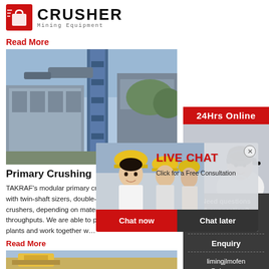[Figure (logo): Crusher Mining Equipment logo with red shopping bag icon and bold CRUSHER text]
Read More
[Figure (photo): Industrial blue pipe/conveyor equipment against sky and warehouse building]
Primary Crushing
TAKRAF's modular primary crushing plants can be equipped with twin-shaft sizers, double-roll crushers, impact crushers, hammer crushers, depending on material properties and required throughputs. We are able to provide mobile or stationary plants and work together w...
Read More
[Figure (photo): Yellow mining/excavation equipment at a worksite]
[Figure (infographic): Live Chat popup overlay with workers in hard hats, LIVE CHAT heading in red, Click for a Free Consultation text, Chat now and Chat later buttons]
[Figure (photo): Right sidebar showing woman with headset customer service agent, 24Hrs Online header, Need questions & suggestion, Chat Now button, Enquiry section, limingjlmofen@sina.com email]